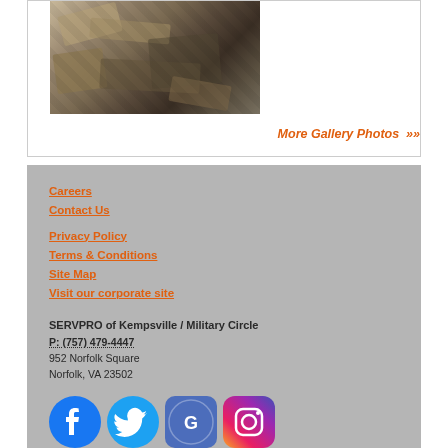[Figure (photo): Photo of debris and damaged materials on a floor, showing contents and packaging materials scattered about.]
More Gallery Photos »
Careers
Contact Us
Privacy Policy
Terms & Conditions
Site Map
Visit our corporate site
SERVPRO of Kempsville / Military Circle
P: (757) 479-4447
952 Norfolk Square
Norfolk, VA 23502
[Figure (logo): Social media icons: Facebook, Twitter, Google, Instagram]
© Servpro Industries, LLC. – All services in the U.S. performed by independently owned and operated franchises of Servpro Industries, LLC.
© Servpro Industries (Canada) ULC – All services in Canada performed by independently owned and operated franchises of Servpro Industries (Canada) ULC.